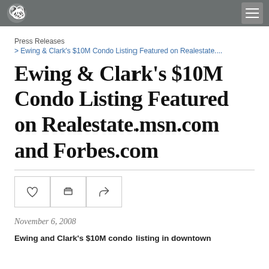Ewing & Clark logo and navigation
Press Releases
> Ewing & Clark's $10M Condo Listing Featured on Realestate....
Ewing & Clark's $10M Condo Listing Featured on Realestate.msn.com and Forbes.com
November 6, 2008
Ewing and Clark's $10M condo listing in downtown